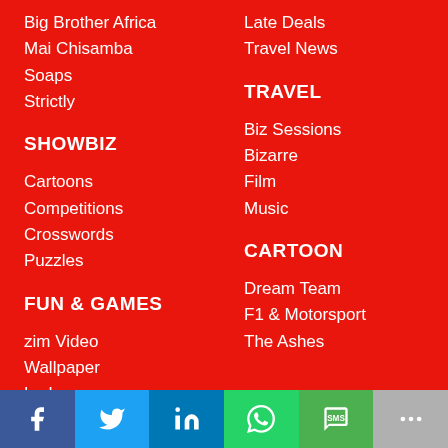Big Brother Africa
Mai Chisamba
Soaps
Strictly
SHOWBIZ
Late Deals
Travel News
TRAVEL
Cartoons
Competitions
Crosswords
Puzzles
FUN & GAMES
Biz Sessions
Bizarre
Film
Music
CARTOON
zim Video
Wallpaper
Lodge
Dream Team
F1 & Motorsport
The Ashes